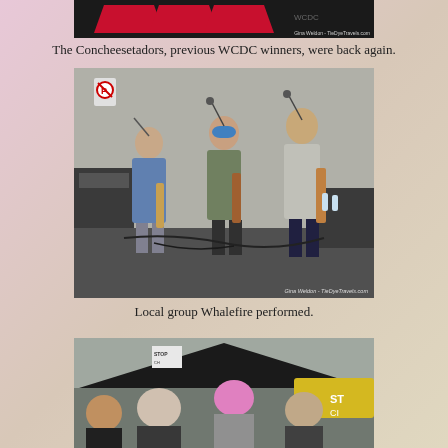[Figure (photo): Partial photo at top showing band/logo with red graphic, watermark reads Gina Weldon - TieDyeTravels.com]
The Concheesetadors, previous WCDC winners, were back again.
[Figure (photo): Three musicians performing outdoors under a tent, playing guitars. Watermark reads Gina Weldon - TieDyeTravels.com]
Local group Whalefire performed.
[Figure (photo): Crowd scene at outdoor event, partially visible at bottom of page]